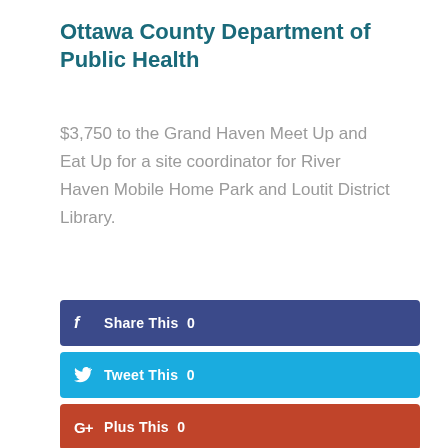Ottawa County Department of Public Health
$3,750 to the Grand Haven Meet Up and Eat Up for a site coordinator for River Haven Mobile Home Park and Loutit District Library.
[Figure (infographic): Social media share buttons: Facebook 'Share This 0', Twitter 'Tweet This 0', Google+ 'Plus This 0', LinkedIn 'Share This 0']